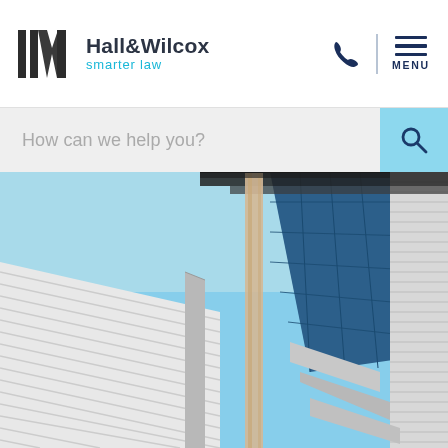Hall&Wilcox smarter law
How can we help you?
[Figure (photo): Upward-angle architectural photograph of a modern commercial or industrial building facade, showing blue glass panels, aluminium louvres, corrugated metal cladding, and a beige column or pipe against a clear blue sky.]